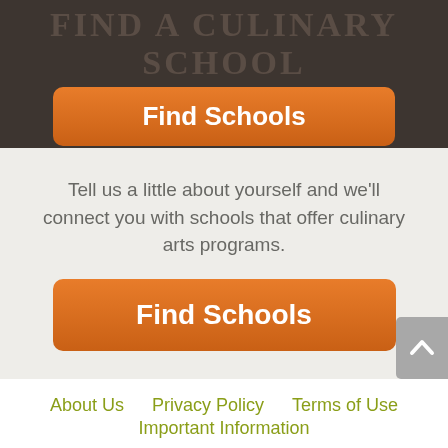FIND A CULINARY SCHOOL
[Figure (screenshot): Orange 'Find Schools' button in header]
Tell us a little about yourself and we'll connect you with schools that offer culinary arts programs.
[Figure (screenshot): Orange 'Find Schools' button in main section]
About Us
Privacy Policy
Terms of Use
Important Information
Program outcomes vary according to each institution's specific curriculum and employment opportunities are